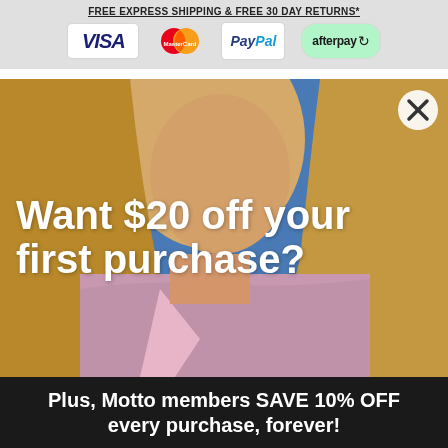FREE EXPRESS SHIPPING & FREE 30 DAY RETURNS*
[Figure (logo): Payment method logos: VISA, MasterCard, PayPal, afterpay]
[Figure (photo): Fashion model wearing pink tweed jacket, blue sky background]
Want $20 off your first purchase?
Plus, Motto members SAVE 10% OFF every purchase, forever!